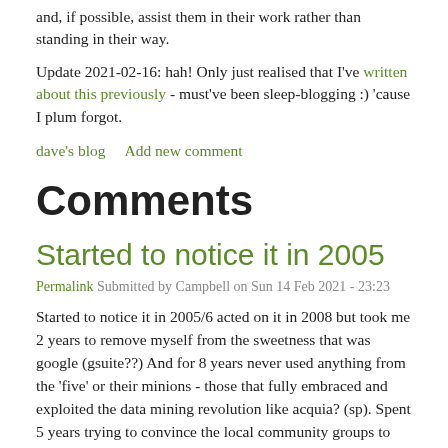and, if possible, assist them in their work rather than standing in their way.
Update 2021-02-16: hah! Only just realised that I've written about this previously - must've been sleep-blogging :) 'cause I plum forgot.
dave's blog    Add new comment
Comments
Started to notice it in 2005
Permalink Submitted by Campbell on Sun 14 Feb 2021 - 23:23
Started to notice it in 2005/6 acted on it in 2008 but took me 2 years to remove myself from the sweetness that was google (gsuite??) And for 8 years never used anything from the 'five' or their minions - those that fully embraced and exploited the data mining revolution like acquia? (sp). Spent 5 years trying to convince the local community groups to form a